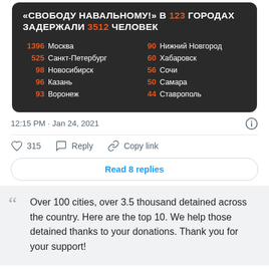[Figure (screenshot): Dark-background infographic card showing Russian text headline '«СВОБОДУ НАВАЛЬНОМУ!» В 123 ГОРОДАХ ЗАДЕРЖАЛИ 3512 ЧЕЛОВЕК' with a two-column list of cities and detention numbers: 1396 Москва, 525 Санкт-Петербург, 98 Новосибирск, 96 Казань, 93 Воронеж, 90 Нижний Новгород, 60 Хабаровск, 56 Сочи, 50 Самара, 44 Ставрополь]
12:15 PM · Jan 24, 2021
315  Reply  Copy link
Read 8 replies
Over 100 cities, over 3.5 thousand detained across the country. Here are the top 10. We help those detained thanks to your donations. Thank you for your support!